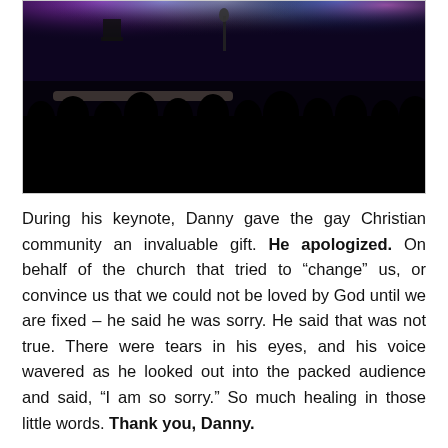[Figure (photo): Dark silhouette photograph of a concert or church event audience viewed from behind, with colorful stage lighting (purple, blue, pink, white) illuminating the background stage area with chairs and equipment visible.]
During his keynote, Danny gave the gay Christian community an invaluable gift. He apologized. On behalf of the church that tried to “change” us, or convince us that we could not be loved by God until we are fixed – he said he was sorry. He said that was not true. There were tears in his eyes, and his voice wavered as he looked out into the packed audience and said, “I am so sorry.” So much healing in those little words. Thank you, Danny.